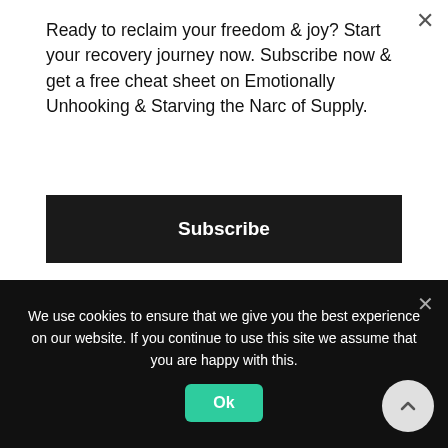Ready to reclaim your freedom & joy? Start your recovery journey now. Subscribe now & get a free cheat sheet on Emotionally Unhooking & Starving the Narc of Supply.
Subscribe
about walking through the darkness and finding your light. It is about reclaiming your freedom and joy.
Recovery in the Narc Wise context, is the transformation of your inner world emotionally, psychologically, and mentally, achieved by working
We use cookies to ensure that we give you the best experience on our website. If you continue to use this site we assume that you are happy with this.
Ok